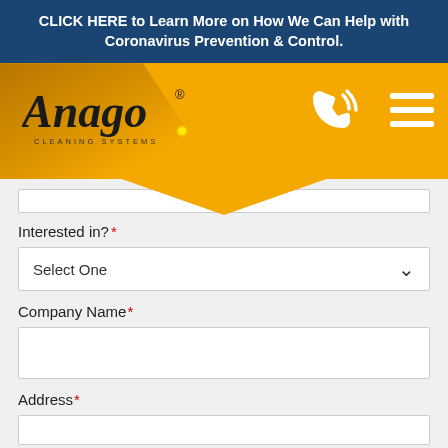CLICK HERE to Learn More on How We Can Help with Coronavirus Prevention & Control.
[Figure (logo): Anago Cleaning Systems logo with italic script text and registered trademark symbol on orange background header with phone and menu icons]
Interested in? *
Select One
Company Name *
Address *